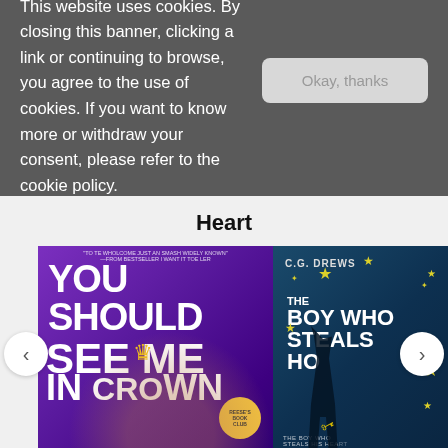This website uses cookies. By closing this banner, clicking a link or continuing to browse, you agree to the use of cookies. If you want to know more or withdraw your consent, please refer to the cookie policy.
Heart
[Figure (photo): Book cover: 'You Should See Me in a Crown' with a young Black woman smiling, wearing a crown, on a purple background. Reese's Book Club badge visible.]
[Figure (photo): Book cover: 'The Boy Who Steals Houses' by C.G. Drews, teal/dark blue background with silhouette of a boy, stars, and a key.]